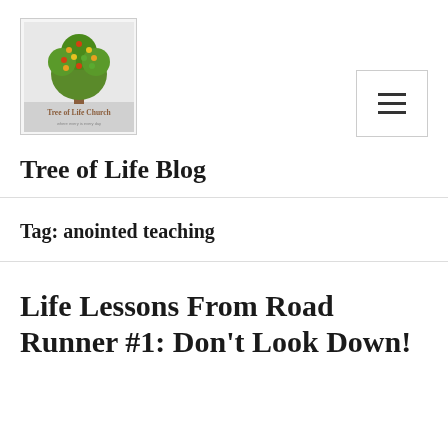[Figure (logo): Tree of Life Church logo with colorful tree and church name text]
Tree of Life Blog
Tag: anointed teaching
Life Lessons From Road Runner #1: Don't Look Down!